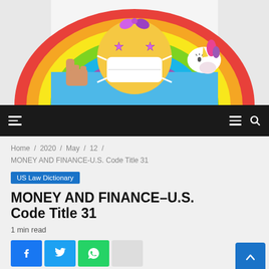[Figure (illustration): Colorful emoji-style illustration featuring a masked face emoji with star eyes on a rainbow background, a hand giving thumbs up on the left, and a unicorn on the right.]
Navigation bar with hamburger menu icons and search icon on dark background
Home / 2020 / May / 12 / MONEY AND FINANCE-U.S. Code Title 31
US Law Dictionary
MONEY AND FINANCE–U.S. Code Title 31
1 min read